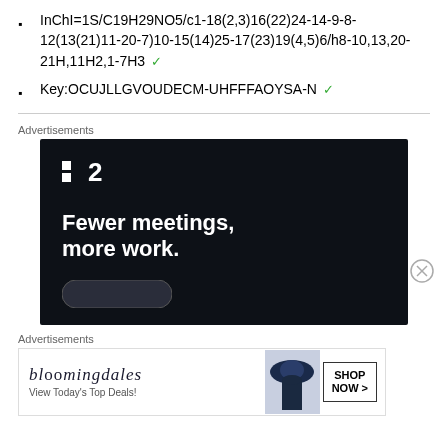InChI=1S/C19H29NO5/c1-18(2,3)16(22)24-14-9-8-12(13(21)11-20-7)10-15(14)25-17(23)19(4,5)6/h8-10,13,20-21H,11H2,1-7H3 ✓
Key:OCUJLLGVOUDECM-UHFFFAOYSA-N ✓
[Figure (infographic): Advertisement banner for a project management tool showing logo '▪2' and tagline 'Fewer meetings, more work.' on dark background]
[Figure (infographic): Advertisement banner for Bloomingdale's showing brand name, 'View Today's Top Deals!' text, woman in hat image, and 'SHOP NOW >' button]